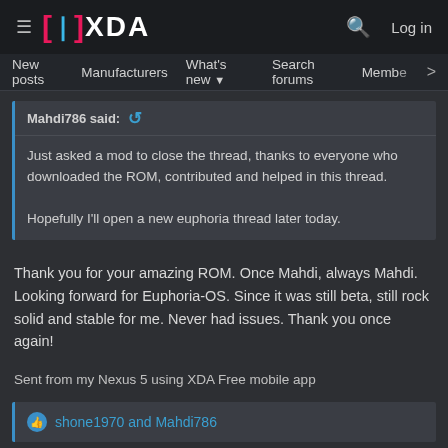≡  XDA  🔍  Log in
New posts  Manufacturers  What's new ▾  Search forums  Membe  >
Mahdi786 said: ↩
Just asked a mod to close the thread, thanks to everyone who downloaded the ROM, contributed and helped in this thread.

Hopefully I'll open a new euphoria thread later today.
Thank you for your amazing ROM. Once Mahdi, always Mahdi. Looking forward for Euphoria-OS. Since it was still beta, still rock solid and stable for me. Never had issues. Thank you once again!
Sent from my Nexus 5 using XDA Free mobile app
👍 shone1970 and Mahdi786